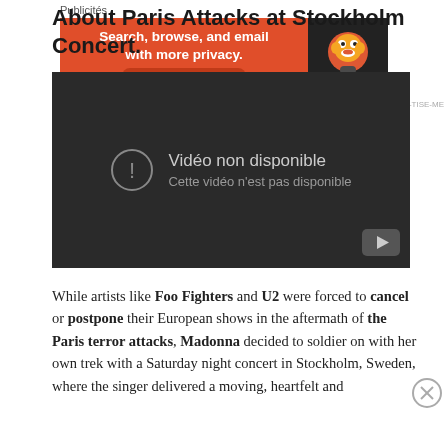About Paris Attacks at Stockholm Concert.
[Figure (screenshot): Embedded YouTube video showing error message: 'Vidéo non disponible / Cette vidéo n'est pas disponible' on dark background with YouTube button in bottom right.]
While artists like Foo Fighters and U2 were forced to cancel or postpone their European shows in the aftermath of the Paris terror attacks, Madonna decided to soldier on with her own trek with a Saturday night concert in Stockholm, Sweden, where the singer delivered a moving, heartfelt and
Publicités
[Figure (screenshot): DuckDuckGo advertisement banner: 'Search, browse, and email with more privacy. All in One Free App' on orange background with DuckDuckGo logo on dark right panel.]